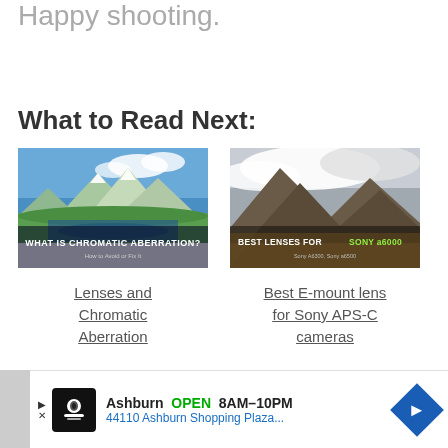Happy shooting.
What to Read Next:
[Figure (photo): Mountain lake landscape with text overlay: WHAT IS CHROMATIC ABERRATION? How to Avoid or Fix It]
Lenses and Chromatic Aberration
[Figure (photo): Mountain with clouds landscape with text overlay: BEST LENSES FOR SONY a6000, Sony A6300, Sony a6500]
Best E-mount lens for Sony APS-C cameras
[Figure (infographic): Advertisement bar: Ashburn OPEN 8AM-10PM, 44110 Ashburn Shopping Plaza...]